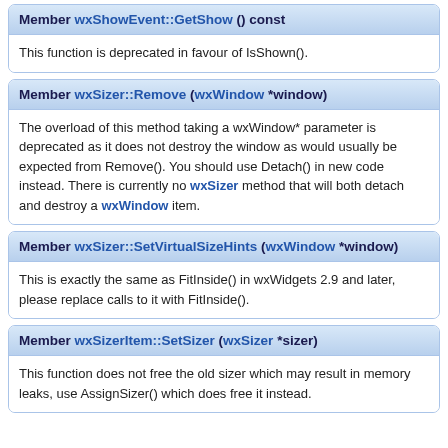Member wxShowEvent::GetShow () const
This function is deprecated in favour of IsShown().
Member wxSizer::Remove (wxWindow *window)
The overload of this method taking a wxWindow* parameter is deprecated as it does not destroy the window as would usually be expected from Remove(). You should use Detach() in new code instead. There is currently no wxSizer method that will both detach and destroy a wxWindow item.
Member wxSizer::SetVirtualSizeHints (wxWindow *window)
This is exactly the same as FitInside() in wxWidgets 2.9 and later, please replace calls to it with FitInside().
Member wxSizerItem::SetSizer (wxSizer *sizer)
This function does not free the old sizer which may result in memory leaks, use AssignSizer() which does free it instead.